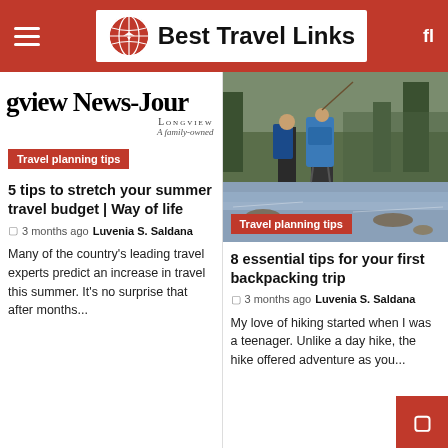Best Travel Links
[Figure (logo): Longview News-Journal newspaper logo with blackletter font, subtitle 'Longview' and 'A family-owned']
Travel planning tips
[Figure (photo): Two hikers with large backpacks crossing a rocky stream in a forested area]
Travel planning tips
5 tips to stretch your summer travel budget | Way of life
3 months ago  Luvenia S. Saldana
Many of the country's leading travel experts predict an increase in travel this summer. It's no surprise that after months...
8 essential tips for your first backpacking trip
3 months ago  Luvenia S. Saldana
My love of hiking started when I was a teenager. Unlike a day hike, the hike offered adventure as you...